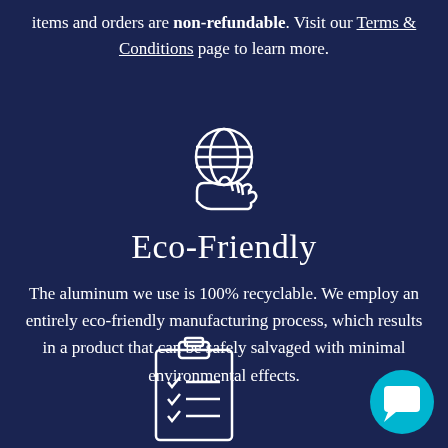items and orders are non-refundable. Visit our Terms & Conditions page to learn more.
[Figure (illustration): White line icon of a hand holding a globe]
Eco-Friendly
The aluminum we use is 100% recyclable. We employ an entirely eco-friendly manufacturing process, which results in a product that can be safely salvaged with minimal environmental effects.
[Figure (illustration): White line icon of a clipboard with checklist items]
[Figure (illustration): Teal/cyan circular chat bubble icon in bottom right corner]